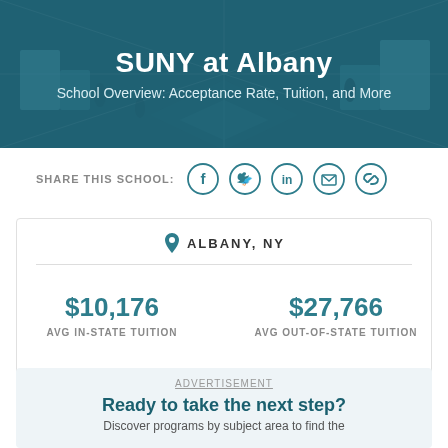[Figure (illustration): Teal/dark cyan header banner with isometric illustration of school/campus scene in the background]
SUNY at Albany
School Overview: Acceptance Rate, Tuition, and More
SHARE THIS SCHOOL:
[Figure (infographic): Five social share icon circles: Facebook, Twitter, LinkedIn, Email, Link]
ALBANY, NY
$10,176
AVG IN-STATE TUITION
$27,766
AVG OUT-OF-STATE TUITION
ADVERTISEMENT
Ready to take the next step?
Discover programs by subject area to find the